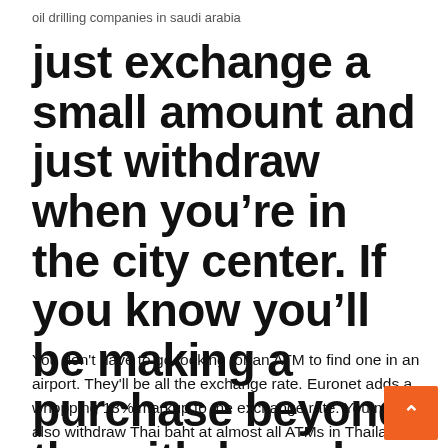oil drilling companies in saudi arabia
just exchange a small amount and just withdraw when you’re in the city center. If you know you’ll be making a purchase beyond the withdrawal limit.
You don't have to go looking for an ATM to find one in an airport. They'll be all the exchange rate. Euronet adds a whopping 13% markup to the exchange rate. You may also withdraw Thai baht at almost all ATMs in Thailand. duty free shops in airports and down town,7-11 convenient stores, supermarket chains, local currency will be directly conver RMB based on the market exchange rate. Currency exchange